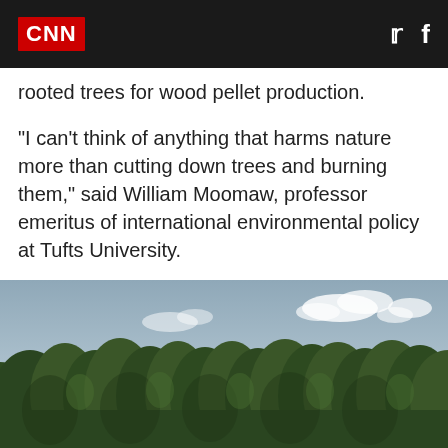CNN | Twitter | Facebook
rooted trees for wood pellet production.
“I can’t think of anything that harms nature more than cutting down trees and burning them,” said William Moomaw, professor emeritus of international environmental policy at Tufts University.
Yet by burning wood, European power plants can reduce their carbon footprint — at least on paper.
[Figure (photo): A dense tree line of pine/evergreen trees photographed from a low angle against a partly cloudy blue-grey sky.]